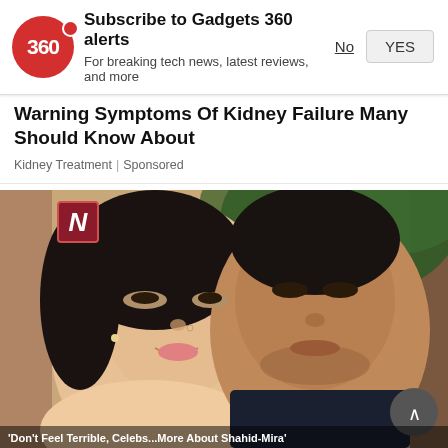[Figure (screenshot): Gadgets 360 notification subscription banner with red circular logo showing '360', bold title 'Subscribe to Gadgets 360 alerts', subtitle 'For breaking tech news, latest reviews, and more', and two buttons: 'No' (underlined text) and 'YES' (button)]
Warning Symptoms Of Kidney Failure Many Should Know About
Kidney Treatment | Sponsored
[Figure (photo): Photo of a smiling couple — a woman with light makeup and dark hair on the left, a man with short dark hair on the right, with green foliage in the background. A dark red 'N' badge (Newspoint logo) is visible in the top-left. A scroll-up button is in the bottom-right corner. Partial text visible at the bottom reads: "'Don't Feel Terrible, Celebs...More About Shahid-Mira'"]